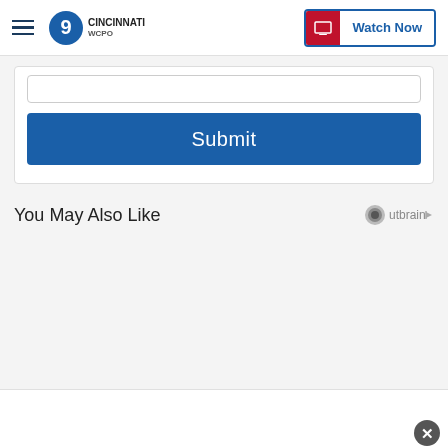WCPO 9 Cincinnati — Watch Now
[Figure (screenshot): Input field (text box) partially visible at top of form card]
[Figure (screenshot): Submit button - blue rounded rectangle with white text 'Submit']
You May Also Like
[Figure (logo): Outbrain logo with circle icon and arrow]
[Figure (screenshot): WCPO First Warning Weather 24/7 promotional image card with grey sky background]
[Figure (screenshot): Close button (X) overlay circle at bottom right]